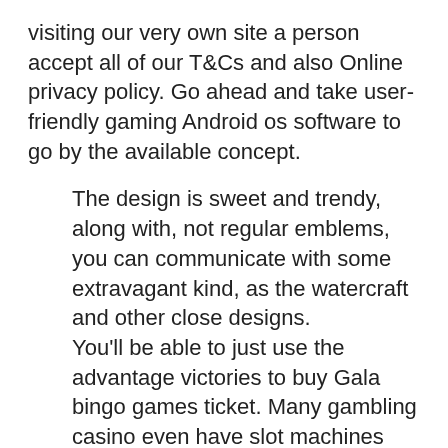visiting our very own site a person accept all of our T&Cs and also Online privacy policy. Go ahead and take user-friendly gaming Android os software to go by the available concept.
The design is sweet and trendy, along with, not regular emblems, you can communicate with some extravagant kind, as the watercraft and other close designs.
You'll be able to just use the advantage victories to buy Gala bingo games ticket. Many gambling casino even have slot machines within provide you with to provide you with an oldtime free of charge spins bonus from the its slot machines. Numerous players invest time and effort looking for the most truly effective net